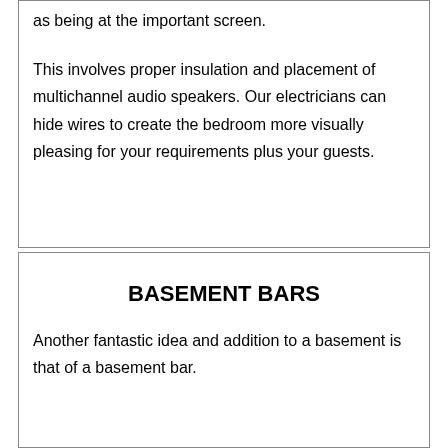as being at the important screen.
This involves proper insulation and placement of multichannel audio speakers. Our electricians can hide wires to create the bedroom more visually pleasing for your requirements plus your guests.
BASEMENT BARS
Another fantastic idea and addition to a basement is that of a basement bar.